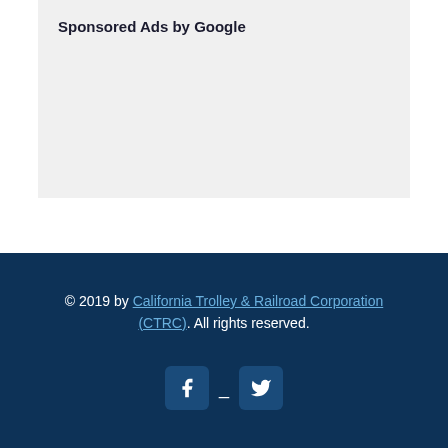[Figure (other): Sponsored Ads by Google placeholder box with light gray background]
© 2019 by California Trolley & Railroad Corporation (CTRC). All rights reserved.